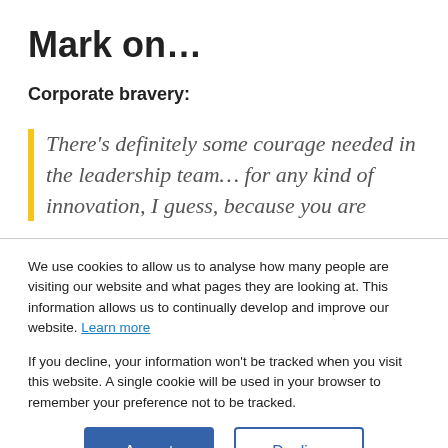Mark on…
Corporate bravery:
There's definitely some courage needed in the leadership team… for any kind of innovation, I guess, because you are
We use cookies to allow us to analyse how many people are visiting our website and what pages they are looking at. This information allows us to continually develop and improve our website. Learn more
If you decline, your information won't be tracked when you visit this website. A single cookie will be used in your browser to remember your preference not to be tracked.